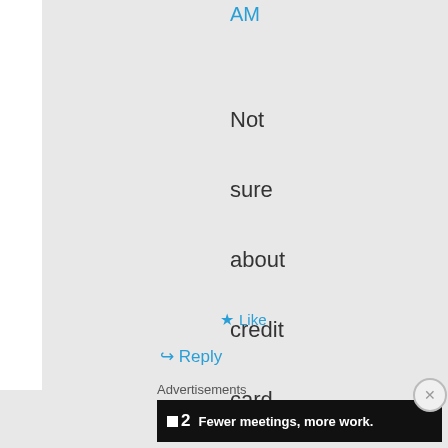AM
Not sure about credit card. NETS should be fine.
★ Like
↪ Reply
Advertisements
[Figure (other): Advertisement banner: dark background with logo '▪2' and text 'Fewer meetings, more work.']
×